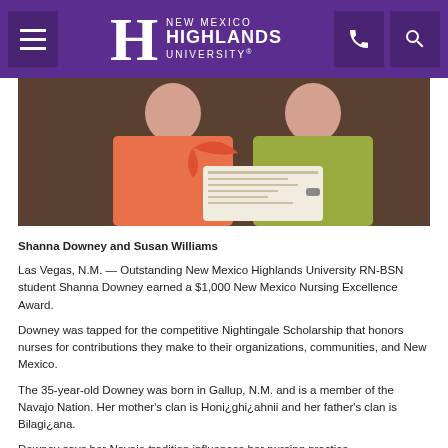New Mexico Highlands University
[Figure (photo): Two women holding a check together; one wearing an orange/coral outfit, the other wearing a yellow-green top.]
Shanna Downey and Susan Williams
Las Vegas, N.M. — Outstanding New Mexico Highlands University RN-BSN student Shanna Downey earned a $1,000 New Mexico Nursing Excellence Award.
Downey was tapped for the competitive Nightingale Scholarship that honors nurses for contributions they make to their organizations, communities, and New Mexico.
The 35-year-old Downey was born in Gallup, N.M. and is a member of the Navajo Nation. Her mother's clan is Honi¿ghi¿ahnii and her father's clan is Bilagi¿ana.
Downey says her Navajo tradition influences her nursing practice.